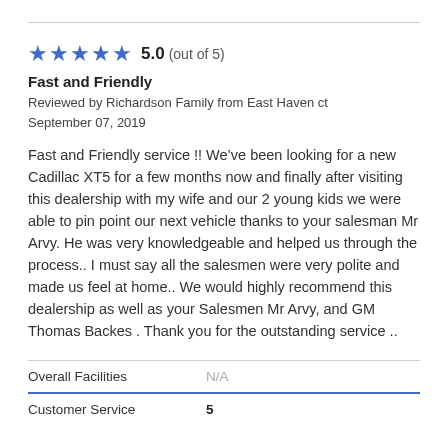[Figure (other): Five blue star rating icons with score 5.0 (out of 5)]
Fast and Friendly
Reviewed by Richardson Family from East Haven ct
September 07, 2019
Fast and Friendly service !! We’ve been looking for a new Cadillac XT5 for a few months now and finally after visiting this dealership with my wife and our 2 young kids we were able to pin point our next vehicle thanks to your salesman Mr Arvy. He was very knowledgeable and helped us through the process.. I must say all the salesmen were very polite and made us feel at home.. We would highly recommend this dealership as well as your Salesmen Mr Arvy, and GM Thomas Backes . Thank you for the outstanding service ..
| Overall Facilities | N/A |
| Customer Service | 5 |